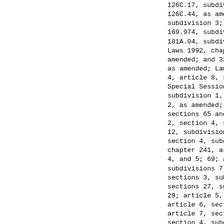126C.17, subdivision 9; 126C.40, subdiv 126C.44, as amended; 127A.05, subdivisi subdivision 3; 127A.45, subdivision 12a 169.974, subdivision 2; 171.05, subdivi 181A.04, subdivision 6; and 260C.143, s Laws 1992, chapter 499, article 7, sect amended; and 32; Laws 1997, chapter 157 as amended; Laws 1997, First Special Se 4, article 8, section 4, as amended; La Special Session chapter 1, article 1, s subdivision 1, as amended; and 11, subd 2, as amended; Laws 1999, chapter 205, sections 65 and 71, subdivisions 3, 7, 2, section 4, subdivisions 2 and 3; art 12, subdivisions 5, 6, and 7; chapter 2 section 4, subdivision 2; 216, article chapter 241, article 1, sections 68, su 4, and 5; 69; and 70; article 2, sectio subdivisions 7, 9, 12, 13, 14, 17, and sections 3, subdivisions 3 and 4; and 5 sections 27, subdivisions 2, 3, 4, 5, 1 29; article 5, section 18, subdivisions article 6, section 14, subdivisions 2, article 7, section 2, subdivisions 2 an section 4, subdivisions 4 and 5; artic